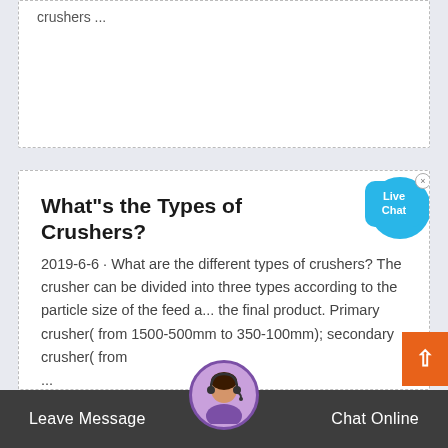crushers ...
What"s the Types of Crushers?
2019-6-6 · What are the different types of crushers? The crusher can be divided into three types according to the particle size of the feed a... the final product. Primary crusher( from 1500-500mm to 350-100mm); secondary crusher( from ...
Leave Message   Chat Online